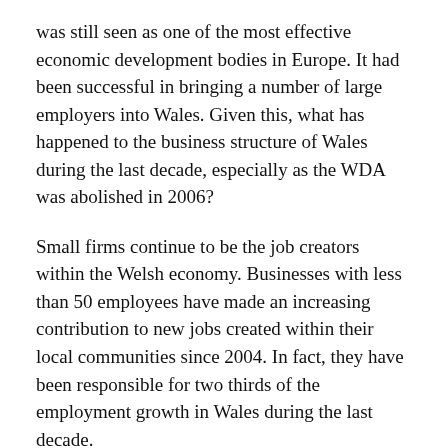was still seen as one of the most effective economic development bodies in Europe. It had been successful in bringing a number of large employers into Wales. Given this, what has happened to the business structure of Wales during the last decade, especially as the WDA was abolished in 2006?
Small firms continue to be the job creators within the Welsh economy. Businesses with less than 50 employees have made an increasing contribution to new jobs created within their local communities since 2004. In fact, they have been responsible for two thirds of the employment growth in Wales during the last decade.
It is also worth noting that the performance of those large firms that employ over 250 people in Wales. The data shows that, despite the demise of the WDA, their turnover increased by 91 per cent in the past decade, well above...